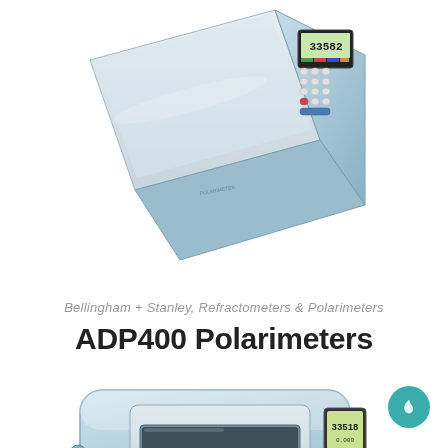[Figure (photo): ADP400 polarimeter instrument photographed from above at an angle, showing a light-blue/grey portable polarimeter with a digital display showing '33582', keypad buttons, and a sample tube compartment. The device has a rectangular form with beveled edges.]
Bellingham + Stanley, Refractometers & Polarimeters
ADP400 Polarimeters
[Figure (photo): ADP400 polarimeter instrument photographed from a front-side angle, showing a compact light-blue benchtop polarimeter with a central sample tube slot, a small color LCD display on the right side showing readings, and a 'POLARIMETER' label on the front. The device has a smooth curved housing.]